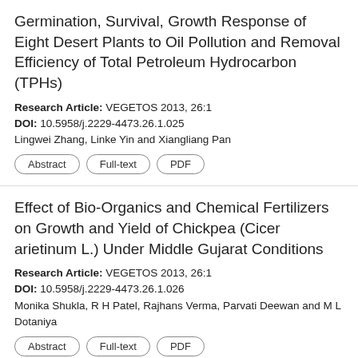Germination, Survival, Growth Response of Eight Desert Plants to Oil Pollution and Removal Efficiency of Total Petroleum Hydrocarbon (TPHs)
Research Article: VEGETOS 2013, 26:1
DOI: 10.5958/j.2229-4473.26.1.025
Lingwei Zhang, Linke Yin and Xiangliang Pan
Abstract
Full-text
PDF
Effect of Bio-Organics and Chemical Fertilizers on Growth and Yield of Chickpea (Cicer arietinum L.) Under Middle Gujarat Conditions
Research Article: VEGETOS 2013, 26:1
DOI: 10.5958/j.2229-4473.26.1.026
Monika Shukla, R H Patel, Rajhans Verma, Parvati Deewan and M L Dotaniya
Abstract
Full-text
PDF
Distribution and Rejuvenation Technology of